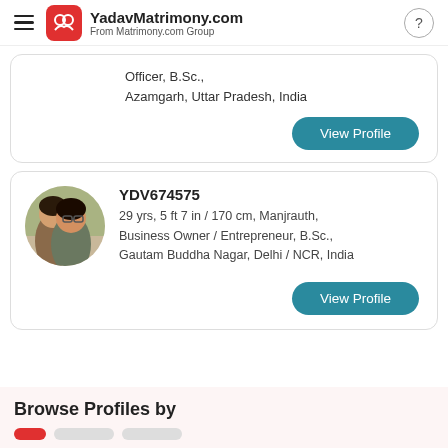YadavMatrimony.com From Matrimony.com Group
Officer, B.Sc., Azamgarh, Uttar Pradesh, India
View Profile
YDV674575
29 yrs, 5 ft 7 in / 170 cm, Manjrauth, Business Owner / Entrepreneur, B.Sc., Gautam Buddha Nagar, Delhi / NCR, India
View Profile
Browse Profiles by